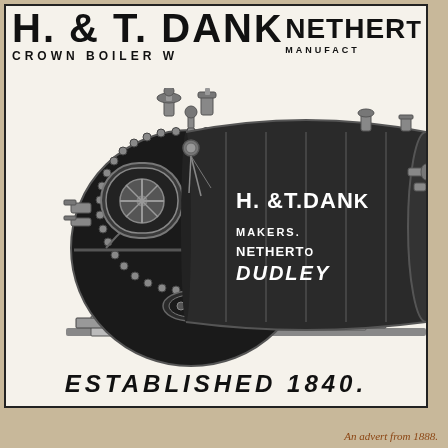H. & T. DANKS CROWN BOILER W...
NETHERTON MANUFACT...
[Figure (illustration): Victorian-era advertisement illustration of a Crown Boiler made by H. & T. Danks, Netherton, Dudley. The boiler is cylindrical with riveted sections, two furnace doors visible on the front face, various valves and fittings on top, and text on the barrel reading 'H. & T. DANKS MAKERS NETHERTON DUDLEY'. The boiler sits on a wooden frame/skid.]
ESTABLISHED 1840.
An advert from 1888.